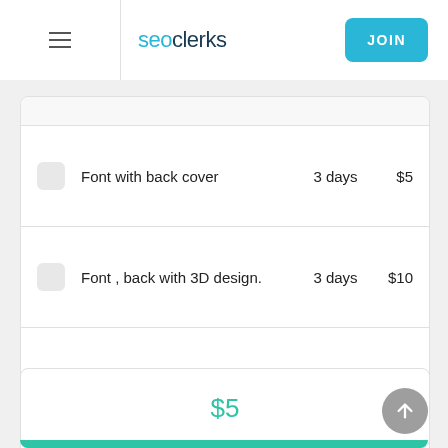seoclerks | JOIN
Font with back cover | 3 days | $5
Font , back with 3D design. | 3 days | $10
Source file | 1 days | $10
$5